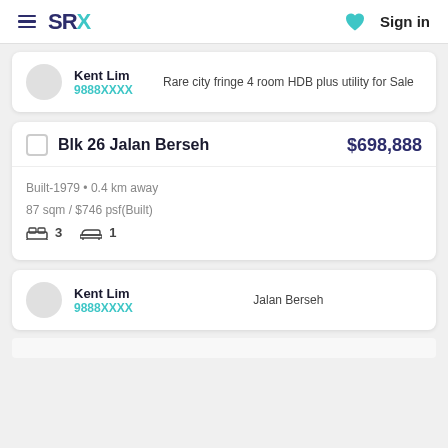SRX | Sign in
Kent Lim
9888XXXX
Rare city fringe 4 room HDB plus utility for Sale
Blk 26 Jalan Berseh
$698,888
Built-1979 • 0.4 km away
87 sqm / $746 psf(Built)
Bed 3  Bath 1
Kent Lim
9888XXXX
Jalan Berseh